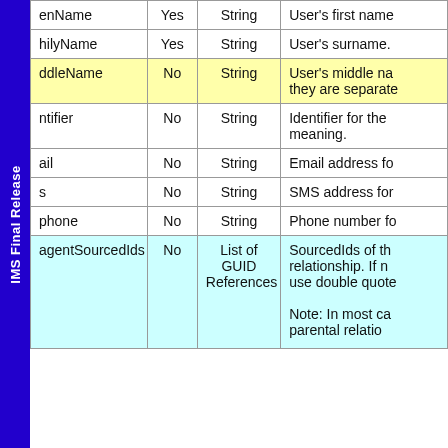| Field | Required | Type | Description |
| --- | --- | --- | --- |
| enName | Yes | String | User's first name |
| hilyName | Yes | String | User's surname. |
| ddleName | No | String | User's middle na... they are separate... |
| ntifier | No | String | Identifier for the... meaning. |
| ail | No | String | Email address fo... |
| s | No | String | SMS address for... |
| phone | No | String | Phone number fo... |
| agentSourcedIds | No | List of GUID References | SourcedIds of th... relationship. If n... use double quote...

Note: In most ca... parental relatio... |